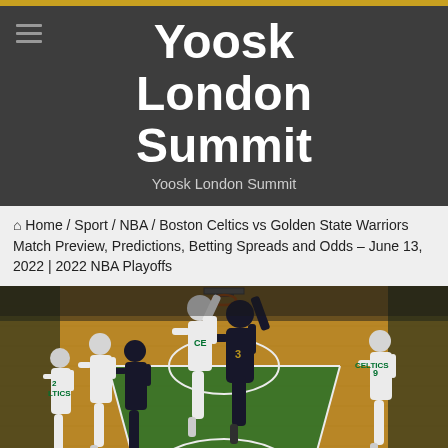Yoosk London Summit
Yoosk London Summit
Yoosk London Summit
🏠 Home / Sport / NBA / Boston Celtics vs Golden State Warriors Match Preview, Predictions, Betting Spreads and Odds – June 13, 2022 | 2022 NBA Playoffs
[Figure (photo): Basketball game action photo showing Boston Celtics (white uniforms) vs Golden State Warriors (dark uniforms) players competing near the basket on a hardwood court with green paint.]